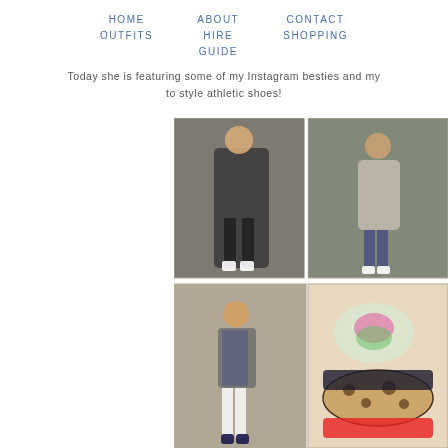HOME   ABOUT   CONTACT
OUTFITS   HIRE   SHOPPING
GUIDE
Today she is featuring some of my Instagram besties and my to style athletic shoes!
[Figure (photo): A collage of 4+ outfit photos showing women wearing casual outfits with athletic shoes]
[Figure (photo): Woman in black blazer, graphic tee, dark jeans, and white sneakers in front of a door]
[Figure (photo): Woman in grey sweater and ripped jeans with white sneakers outside a home]
[Figure (photo): Woman in grey cardigan and blue gingham shirt with white pants and loafers]
[Figure (photo): Close-up of leopard print athletic shoes with pink/green details]